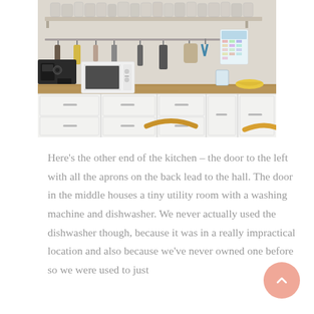[Figure (photo): Photo of a kitchen showing white lower cabinets with a wooden countertop, a white microwave and coffee machine on the counter, a wall-mounted rail with hanging kitchen utensils and tools, a shelf above with many glass jars, and two wooden chairs visible at bottom. A calendar is pinned to the wall on the right.]
Here's the other end of the kitchen – the door to the left with all the aprons on the back lead to the hall. The door in the middle houses a tiny utility room with a washing machine and dishwasher. We never actually used the dishwasher though, because it was in a really impractical location and also because we've never owned one before so we were used to just